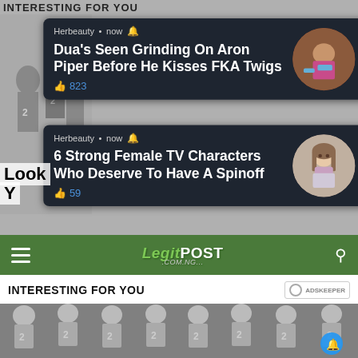INTERESTING FOR YOU
[Figure (screenshot): Notification card 1 from Herbeauty: Dua's Seen Grinding On Aron Piper Before He Kisses FKA Twigs, 823 likes, with circular thumbnail]
[Figure (screenshot): Notification card 2 from Herbeauty: 6 Strong Female TV Characters Who Deserve To Have A Spinoff, 59 likes, with circular thumbnail of young girl]
[Figure (screenshot): Legit.com.ng navigation bar in green with hamburger menu and search icon]
INTERESTING FOR YOU
[Figure (photo): Black and white vintage team photo showing young boys in basketball uniforms with number 2]